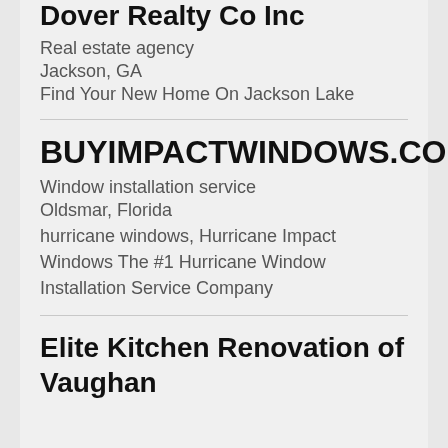Dover Realty Co Inc
Real estate agency
Jackson, GA
Find Your New Home On Jackson Lake
BUYIMPACTWINDOWS.COM
Window installation service
Oldsmar, Florida
hurricane windows, Hurricane Impact Windows The #1 Hurricane Window Installation Service Company
Elite Kitchen Renovation of Vaughan